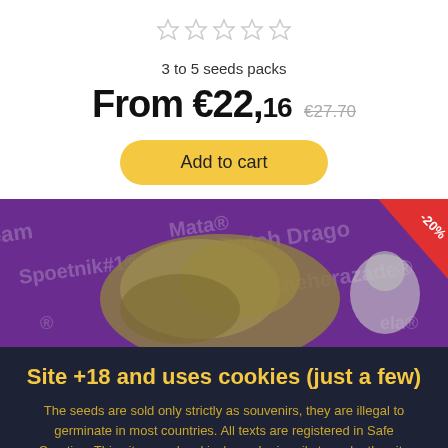[Figure (other): Five empty star rating icons in a row]
3 to 5 seeds packs
From €22,16  €27.70
Add to cart
[Figure (photo): Purple background banner with cannabis flower photo, brand names text overlay (Spoetnik#1, Mata, Dutch Dragon, Sheherazade), and a portrait photo on the right side. Red -20% discount badge in top-right corner.]
Site +18 and uses cookies (just a few)
The seeds are sold only strictly as souvenirs, they are illegal to germinate in most countries. All texts are registered in Safe Creative. This site uses 'cookies', used primarily to make the site work as you expect.
More info
Accept all